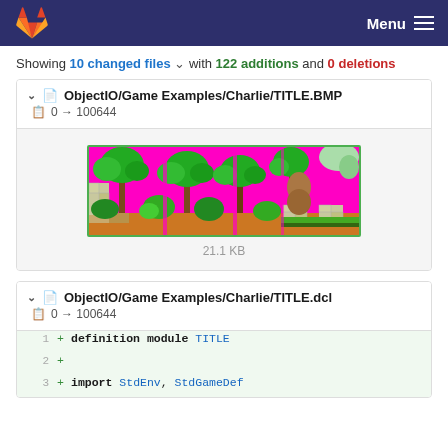GitLab Menu
Showing 10 changed files with 122 additions and 0 deletions
ObjectIO/Game Examples/Charlie/TITLE.BMP
0 → 100644
[Figure (photo): Pixel art game sprite sheet showing tropical jungle tiles with palm trees, plants, and stone blocks on a bright pink/magenta background. Green border around image.]
21.1 KB
ObjectIO/Game Examples/Charlie/TITLE.dcl
0 → 100644
+ definition module TITLE
+ 
+ import StdEnv, StdGameDef